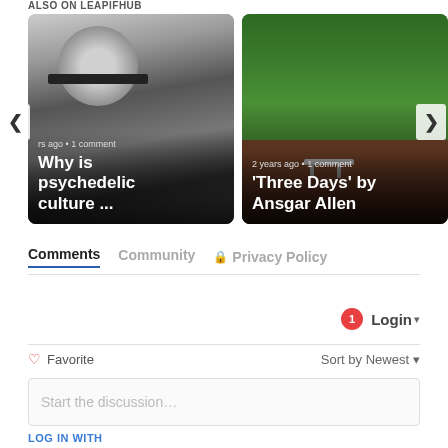ALSO ON LEAPIFHUB
[Figure (photo): Black and white photo of a woman with bangs, card overlay shows 'rs ago • 1 comment' and title 'Why is psychedelic culture ...']
[Figure (photo): Photo of ivy-covered wall with a bench, card overlay shows '2 years ago • 1 comment' and title "'Three Days' by Ansgar Allen"]
Comments   Community   Privacy Policy
Login ▾
♡ Favorite
Sort by Newest ▾
Start the discussion…
LOG IN WITH